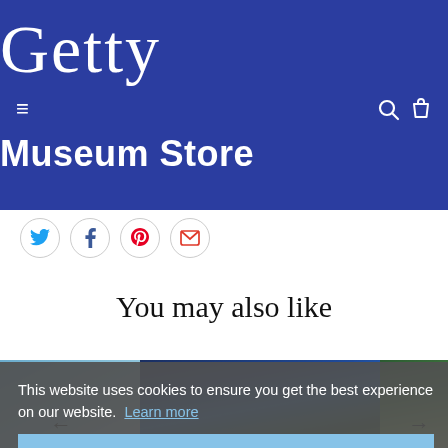Getty
Museum Store
[Figure (screenshot): Social share icons row: Twitter (blue bird), Facebook (blue f), Pinterest (red P), Email (red envelope) — circular outlined buttons]
You may also like
[Figure (photo): Product images row: partial view of blue/teal product image on left, blue/green artistic product image in center, green/gold artistic product image on right, with left and right navigation arrows]
This website uses cookies to ensure you get the best experience on our website.  Learn more
Got it!